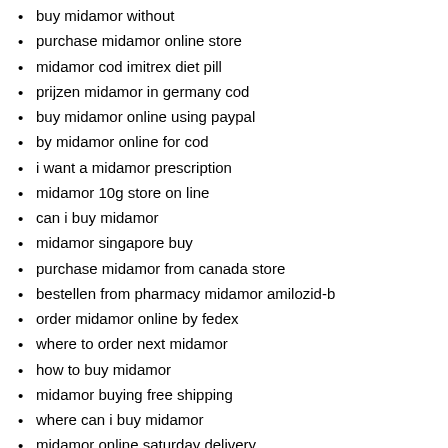buy midamor without
purchase midamor online store
midamor cod imitrex diet pill
prijzen midamor in germany cod
buy midamor online using paypal
by midamor online for cod
i want a midamor prescription
midamor 10g store on line
can i buy midamor
midamor singapore buy
purchase midamor from canada store
bestellen from pharmacy midamor amilozid-b
order midamor online by fedex
where to order next midamor
how to buy midamor
midamor buying free shipping
where can i buy midamor
midamor online saturday delivery
midamor acne best buy
midamor get no prescription
how can i buy midamor
purchase licensed store preis midamor
buy midamor online consultation us
online pharmacy cod midamor